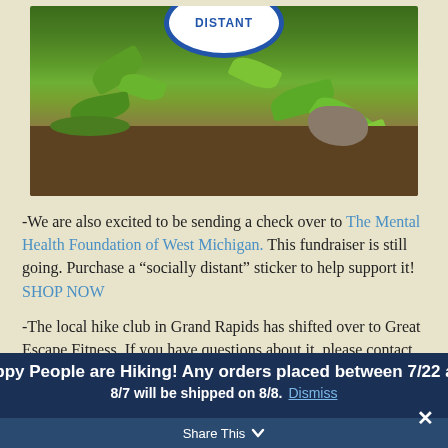[Figure (photo): Close-up photo of green plants/leaves on the forest floor with a circular blue-and-white 'DISTANT' sign visible at the top]
-We are also excited to be sending a check over to The Mental Health Foundation of West Michigan. This fundraiser is still going. Purchase a “socially distant” sticker to help support it! SHOP NOW
-The local hike club in Grand Rapids has shifted over to Great Escape Fitness. If you have questions about it, please contact Kelsey at
Happy People are Hiking! Any orders placed between 7/22 and 8/7 will be shipped on 8/8. Dismiss